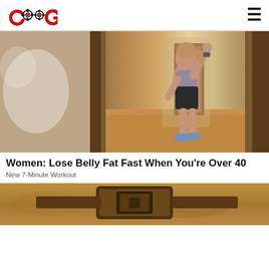COG logo and hamburger menu
[Figure (photo): Woman in workout attire (purple sports bra and black shorts) with one arm raised overhead, standing in a hallway with hardwood floors. Left side of image is blurred.]
Women: Lose Belly Fat Fast When You’re Over 40
New 7-Minute Workout
[Figure (photo): Partial image of what appears to be a leather belt or strap on a sandy/rocky surface, partially cropped at the bottom of the page.]